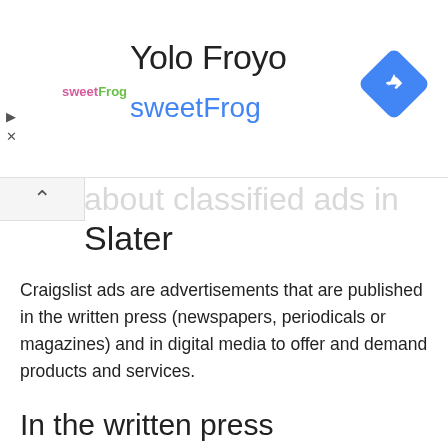[Figure (screenshot): Ad banner for Yolo Froyo / sweetFrog with logo, title, subtitle, and Google Maps navigation icon]
about classified ads in Slater
Craigslist ads are advertisements that are published in the written press (newspapers, periodicals or magazines) and in digital media to offer and demand products and services.
In the written press
They are usually part of a section where companies or individuals can publish ads, often for a fee, and are organized by categories to facilitate the search (real estate, automobiles,